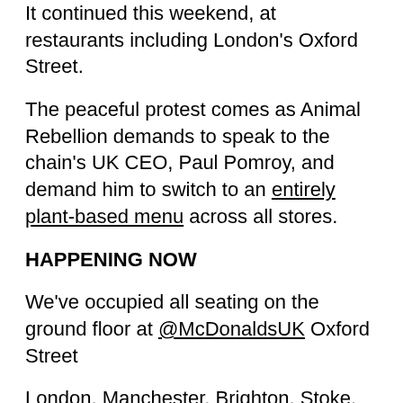It continued this weekend, at restaurants including London's Oxford Street.
The peaceful protest comes as Animal Rebellion demands to speak to the chain's UK CEO, Paul Pomroy, and demand him to switch to an entirely plant-based menu across all stores.
HAPPENING NOW
We've occupied all seating on the ground floor at @McDonaldsUK Oxford Street
London. Manchester. Brighton. Stoke. McSit-Ins are happening all over the country today! #PlantBasedFoodSystem #McDestruction #McMurder #McSitin pic.twitter.com/iEUM7fVzp9